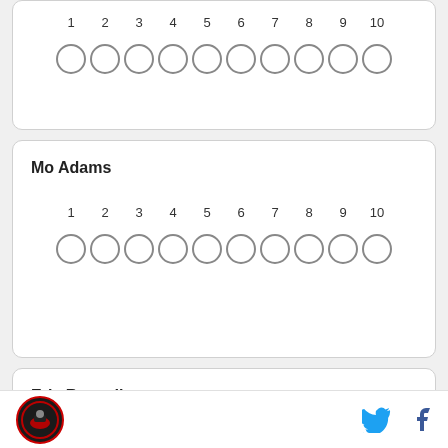[Figure (other): Rating scale 1-10 with empty circles for selection (first card, no name)]
Mo Adams
[Figure (other): Rating scale 1-10 with empty circles for selection (Mo Adams card)]
Eric Remedi
[Figure (logo): Circular logo in footer (dark background with red border)]
[Figure (other): Twitter and Facebook social media icons in footer]